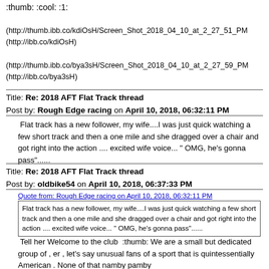:thumb: :cool: :1:
(http://thumb.ibb.co/kdiOsH/Screen_Shot_2018_04_10_at_2_27_51_PM...
(http://ibb.co/kdiOsH)
(http://thumb.ibb.co/bya3sH/Screen_Shot_2018_04_10_at_2_27_59_PM...
(http://ibb.co/bya3sH)
Title: Re: 2018 AFT Flat Track thread
Post by: Rough Edge racing on April 10, 2018, 06:32:11 PM
Flat track has a new follower, my wife....I was just quick watching a few short track and then a one mile and she dragged over a chair and got right into the action .... excited wife voice... " OMG, he's gonna pass"......
Title: Re: 2018 AFT Flat Track thread
Post by: oldbike54 on April 10, 2018, 06:37:33 PM
Quote from: Rough Edge racing on April 10, 2018, 06:32:11 PM
Flat track has a new follower, my wife....I was just quick watching a few short track and then a one mile and she dragged over a chair and got right into the action .... excited wife voice... " OMG, he's gonna pass"......
Tell her Welcome to the club :thumb: We are a small but dedicated group of , er , let's say unusual fans of a sport that is quintessentially American . None of that namby pamby